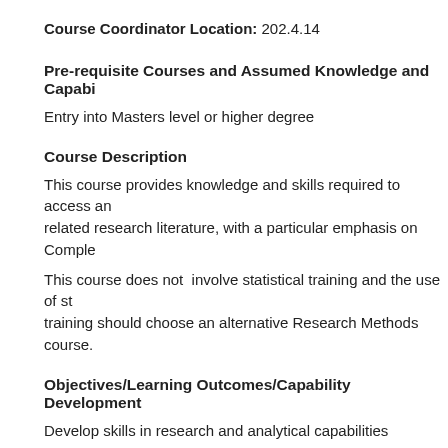Course Coordinator Location: 202.4.14
Pre-requisite Courses and Assumed Knowledge and Capabilities
Entry into Masters level or higher degree
Course Description
This course provides knowledge and skills required to access and related research literature, with a particular emphasis on Comple
This course does not involve statistical training and the use of st training should choose an alternative Research Methods course.
Objectives/Learning Outcomes/Capability Development
Develop skills in research and analytical capabilities
Upon completion of this part of the subject, postgraduate student